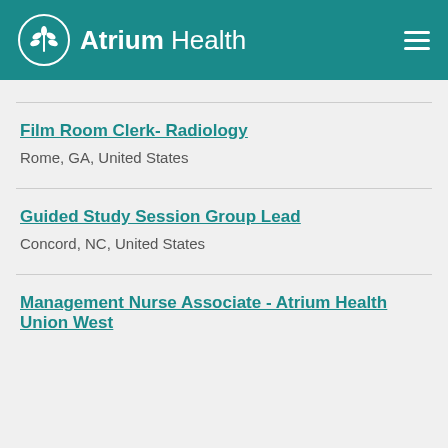Atrium Health
Film Room Clerk- Radiology
Rome, GA, United States
Guided Study Session Group Lead
Concord, NC, United States
Management Nurse Associate - Atrium Health Union West